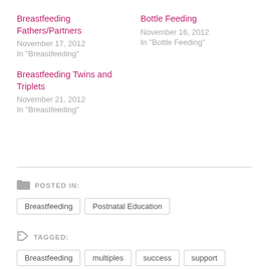Breastfeeding Fathers/Partners
November 17, 2012
In "Breastfeeding"
Bottle Feeding
November 16, 2012
In "Bottle Feeding"
Breastfeeding Twins and Triplets
November 21, 2012
In "Breastfeeding"
POSTED IN:
Breastfeeding
Postnatal Education
TAGGED:
Breastfeeding
multiples
success
support
twins